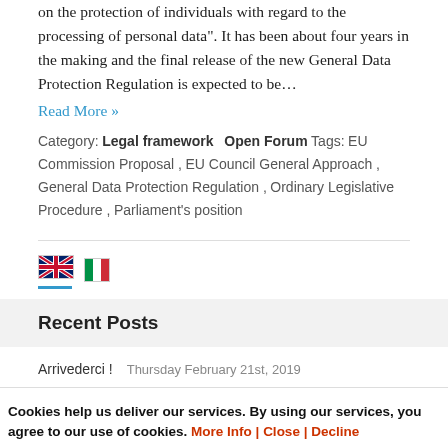on the protection of individuals with regard to the processing of personal data". It has been about four years in the making and the final release of the new General Data Protection Regulation is expected to be…
Read More »
Category: Legal framework  Open Forum  Tags: EU Commission Proposal , EU Council General Approach , General Data Protection Regulation , Ordinary Legislative Procedure , Parliament's position
[Figure (illustration): UK and Italian flag icons with blue underline below UK flag]
Recent Posts
Arrivederci !   Thursday February 21st, 2019
Cookies help us deliver our services. By using our services, you agree to our use of cookies. More Info | Close | Decline